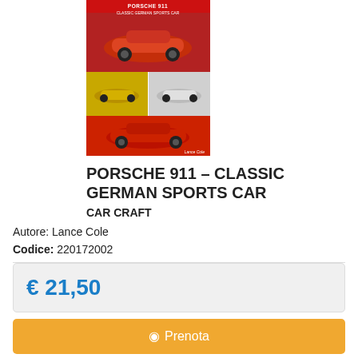[Figure (photo): Book cover image for Porsche 911 - Classic German Sports Car, showing a red Porsche 911 on the top portion, two smaller images in the middle (yellow/green car on left, white/silver car on right), and a red car at the bottom.]
PORSCHE 911 – CLASSIC GERMAN SPORTS CAR
CAR CRAFT
Autore: Lance Cole
Codice: 220172002
€ 21,50
⊙ Prenota
★ aggiungi alla lista desideri
ⓘ Richiedi informazioni
✉ Dillo ad un amico